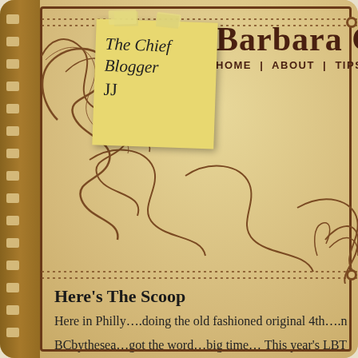[Figure (illustration): Vintage parchment-style blog header with ornate scrollwork decorations, film strip left border, sticky note reading 'The Chief Blogger JJ', site title 'BARBARA CO...' with navigation 'HOME | ABOUT | TIPS & A...']
Here's The Scoop
Here in Philly….doing the old fashioned original 4th….n
BCbythesea…got the word…big time… This year's LBT Beach Blast….